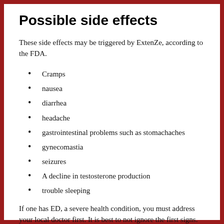Possible side effects
These side effects may be triggered by ExtenZe, according to the FDA.
Cramps
nausea
diarrhea
headache
gastrointestinal problems such as stomachaches
gynecomastia
seizures
A decline in testosterone production
trouble sleeping
If one has ED, a severe health condition, you must address your local doctor first. It is best to not ignore the first signs. The